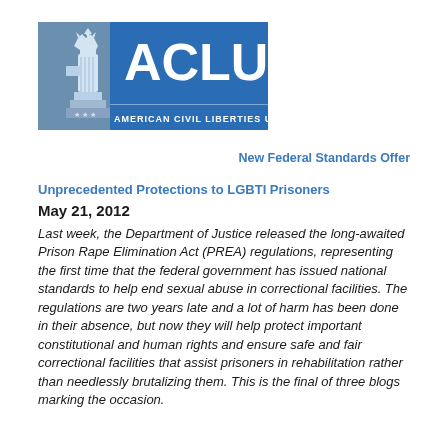[Figure (logo): ACLU - American Civil Liberties Union logo with Statue of Liberty icon and blue background]
New Federal Standards Offer
Unprecedented Protections to LGBTI Prisoners
May 21, 2012
Last week, the Department of Justice released the long-awaited Prison Rape Elimination Act (PREA) regulations, representing the first time that the federal government has issued national standards to help end sexual abuse in correctional facilities. The regulations are two years late and a lot of harm has been done in their absence, but now they will help protect important constitutional and human rights and ensure safe and fair correctional facilities that assist prisoners in rehabilitation rather than needlessly brutalizing them. This is the final of three blogs marking the occasion.